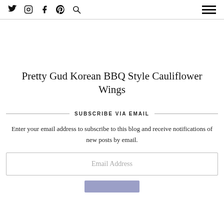Social icons: Twitter, Instagram, Facebook, Pinterest, Search | Hamburger menu
Pretty Gud Korean BBQ Style Cauliflower Wings
SUBSCRIBE VIA EMAIL
Enter your email address to subscribe to this blog and receive notifications of new posts by email.
Email Address